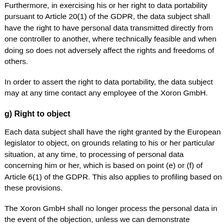Furthermore, in exercising his or her right to data portability pursuant to Article 20(1) of the GDPR, the data subject shall have the right to have personal data transmitted directly from one controller to another, where technically feasible and when doing so does not adversely affect the rights and freedoms of others.
In order to assert the right to data portability, the data subject may at any time contact any employee of the Xoron GmbH.
g) Right to object
Each data subject shall have the right granted by the European legislator to object, on grounds relating to his or her particular situation, at any time, to processing of personal data concerning him or her, which is based on point (e) or (f) of Article 6(1) of the GDPR. This also applies to profiling based on these provisions.
The Xoron GmbH shall no longer process the personal data in the event of the objection, unless we can demonstrate compelling legitimate grounds for the processing which override the interests, rights and freedoms of the data subject, or for the establishment,